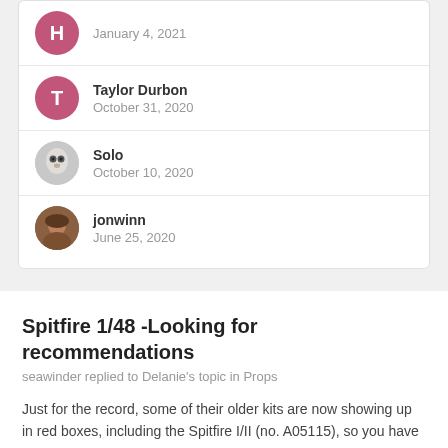H — January 4, 2021
Taylor Durbon — October 31, 2020
Solo — October 10, 2020
jonwinn — June 25, 2020
Spitfire 1/48 -Looking for recommendations
seawinder replied to Delanie's topic in Props
Just for the record, some of their older kits are now showing up in red boxes, including the Spitfire I/II (no. A05115), so you have to be sure you've got the right kit number.